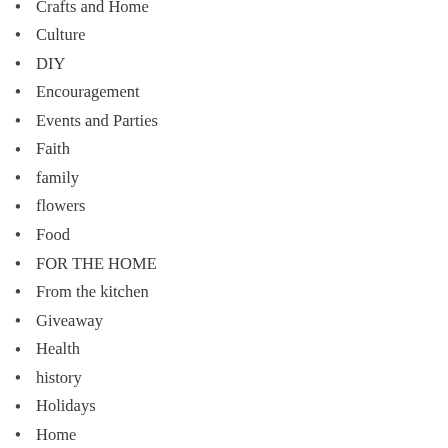Crafts and Home
Culture
DIY
Encouragement
Events and Parties
Faith
family
flowers
Food
FOR THE HOME
From the kitchen
Giveaway
Health
history
Holidays
Home
Human Interest
Inspiration
Life
Lifestyle
MARRIAGE
Marriage and Family
Missions
Music
Nature
Parenting
Photography